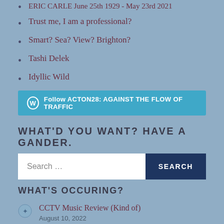ERIC CARLE June 25th 1929 - May 23rd 2021
Trust me, I am a professional?
Smart? Sea? View? Brighton?
Tashi Delek
Idyllic Wild
[Figure (other): Follow ACTON28: AGAINST THE FLOW OF TRAFFIC button with WordPress icon]
WHAT'D YOU WANT? HAVE A GANDER.
[Figure (other): Search bar with Search button]
WHAT'S OCCURING?
CCTV Music Review (Kind of)
August 10, 2022
“We’re walking in the air!”
August 10, 2022